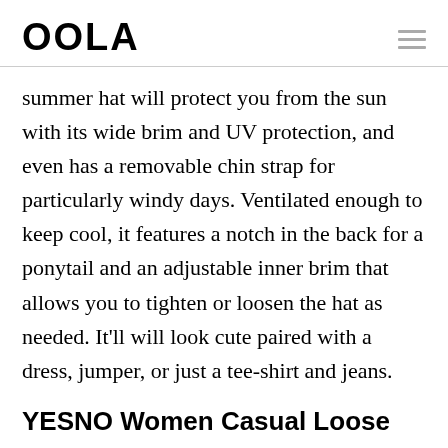OOLA
summer hat will protect you from the sun with its wide brim and UV protection, and even has a removable chin strap for particularly windy days. Ventilated enough to keep cool, it features a notch in the back for a ponytail and an adjustable inner brim that allows you to tighten or loosen the hat as needed. It'll will look cute paired with a dress, jumper, or just a tee-shirt and jeans.
YESNO Women Casual Loose